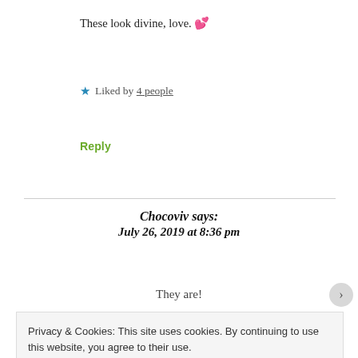These look divine, love. 💕
★ Liked by 4 people
Reply
Chocoviv says: July 26, 2019 at 8:36 pm
They are!
Privacy & Cookies: This site uses cookies. By continuing to use this website, you agree to their use.
To find out more, including how to control cookies, see here: Cookie Policy
Close and accept